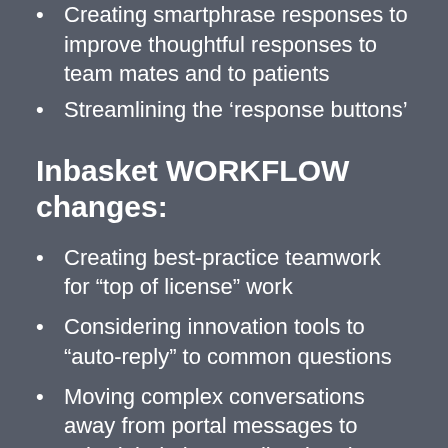Creating smartphrase responses to improve thoughtful responses to team mates and to patients
Streamlining the ‘response buttons’
Inbasket WORKFLOW changes:
Creating best-practice teamwork for “top of license” work
Considering innovation tools to “auto-reply” to common questions
Moving complex conversations away from portal messages to scheduled phone calls, virtual visits, in-person visits, urgent care as appropriate
Considering billing for complex portal messages